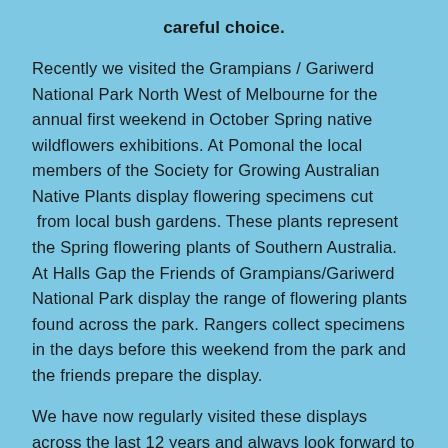careful choice.
Recently we visited the Grampians / Gariwerd National Park North West of Melbourne for the annual first weekend in October Spring native wildflowers exhibitions. At Pomonal the local members of the Society for Growing Australian Native Plants display flowering specimens cut from local bush gardens. These plants represent the Spring flowering plants of Southern Australia. At Halls Gap the Friends of Grampians/Gariwerd National Park display the range of flowering plants found across the park. Rangers collect specimens in the days before this weekend from the park and the friends prepare the display.
We have now regularly visited these displays across the last 12 years and always look forward to the concentrated displays of colour and the aroma of